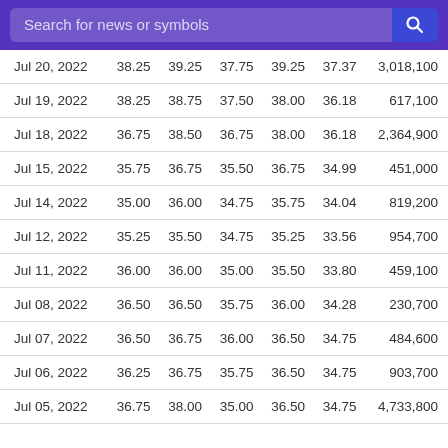Search for news or symbols
| Date | Open | High | Low | Close | Adj Close | Volume |
| --- | --- | --- | --- | --- | --- | --- |
| Jul 20, 2022 | 38.25 | 39.25 | 37.75 | 39.25 | 37.37 | 3,018,100 |
| Jul 19, 2022 | 38.25 | 38.75 | 37.50 | 38.00 | 36.18 | 617,100 |
| Jul 18, 2022 | 36.75 | 38.50 | 36.75 | 38.00 | 36.18 | 2,364,900 |
| Jul 15, 2022 | 35.75 | 36.75 | 35.50 | 36.75 | 34.99 | 451,000 |
| Jul 14, 2022 | 35.00 | 36.00 | 34.75 | 35.75 | 34.04 | 819,200 |
| Jul 12, 2022 | 35.25 | 35.50 | 34.75 | 35.25 | 33.56 | 954,700 |
| Jul 11, 2022 | 36.00 | 36.00 | 35.00 | 35.50 | 33.80 | 459,100 |
| Jul 08, 2022 | 36.50 | 36.50 | 35.75 | 36.00 | 34.28 | 230,700 |
| Jul 07, 2022 | 36.50 | 36.75 | 36.00 | 36.50 | 34.75 | 484,600 |
| Jul 06, 2022 | 36.25 | 36.75 | 35.75 | 36.50 | 34.75 | 903,700 |
| Jul 05, 2022 | 36.75 | 38.00 | 35.00 | 36.50 | 34.75 | 4,733,800 |